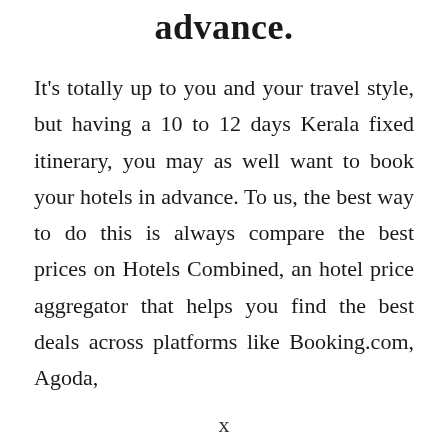advance.
It's totally up to you and your travel style, but having a 10 to 12 days Kerala fixed itinerary, you may as well want to book your hotels in advance. To us, the best way to do this is always compare the best prices on Hotels Combined, an hotel price aggregator that helps you find the best deals across platforms like Booking.com, Agoda,
x